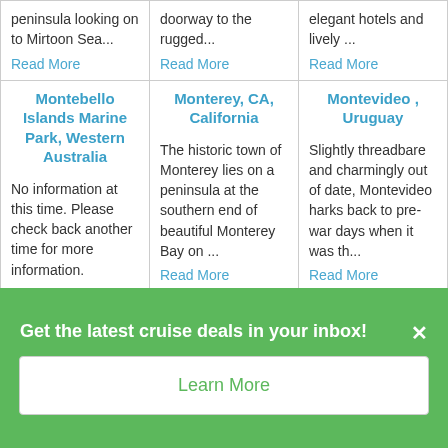|  |  |  |
| --- | --- | --- |
| peninsula looking on to Mirtoon Sea…
Read More | doorway to the rugged…
Read More | elegant hotels and lively …
Read More |
| Montebello Islands Marine Park, Western Australia

No information at this time. Please check back another time for more information. | Monterey, CA, California

The historic town of Monterey lies on a peninsula at the southern end of beautiful Monterey Bay on …
Read More | Montevideo , Uruguay

Slightly threadbare and charmingly out of date, Montevideo harks back to pre-war days when it was th…
Read More |
| Mont… | Mont… | Mont… |
Get the latest cruise deals in your inbox!
Learn More